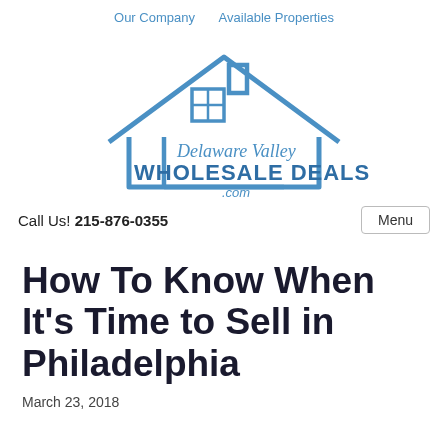Our Company   Available Properties
[Figure (logo): Delaware Valley Wholesale Deals .com logo with house icon outline and script/bold text]
Call Us! 215-876-0355
Menu
How To Know When It’s Time to Sell in Philadelphia
March 23, 2018